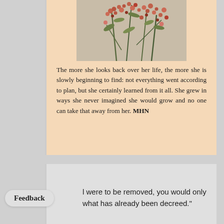[Figure (illustration): Photograph of flowering branches with small red/pink berries and green leaves against a light background]
The more she looks back over her life, the more she is slowly beginning to find: not everything went according to plan, but she certainly learned from it all. She grew in ways she never imagined she would grow and no one can take that away from her. MHN
l were to be removed, you would only what has already been decreed."